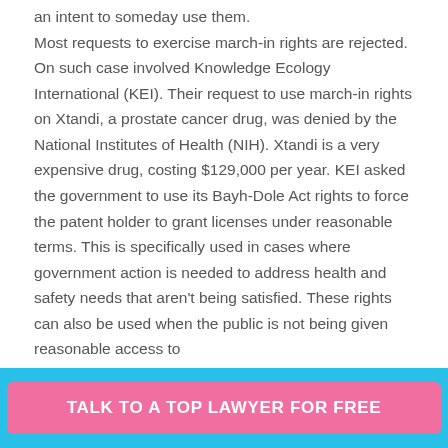an intent to someday use them.

Most requests to exercise march-in rights are rejected. On such case involved Knowledge Ecology International (KEI). Their request to use march-in rights on Xtandi, a prostate cancer drug, was denied by the National Institutes of Health (NIH). Xtandi is a very expensive drug, costing $129,000 per year. KEI asked the government to use its Bayh-Dole Act rights to force the patent holder to grant licenses under reasonable terms. This is specifically used in cases where government action is needed to address health and safety needs that aren't being satisfied. These rights can also be used when the public is not being given reasonable access to
TALK TO A TOP LAWYER FOR FREE